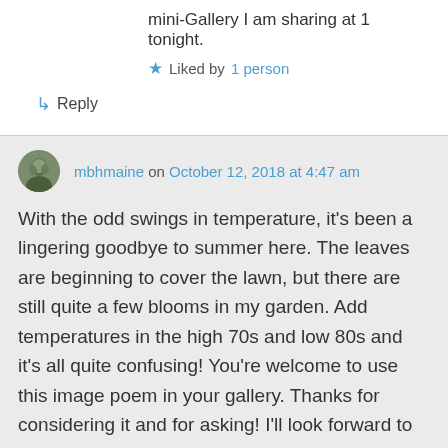mini-Gallery I am sharing at 1 tonight.
★ Liked by 1 person
↳ Reply
mbhmaine on October 12, 2018 at 4:47 am
With the odd swings in temperature, it's been a lingering goodbye to summer here. The leaves are beginning to cover the lawn, but there are still quite a few blooms in my garden. Add temperatures in the high 70s and low 80s and it's all quite confusing! You're welcome to use this image poem in your gallery. Thanks for considering it and for asking! I'll look forward to enjoying your mini-gallery later today.